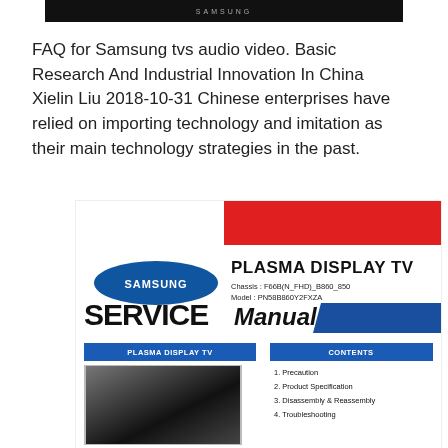[Figure (photo): Samsung TV top bar - black header with Samsung branding]
FAQ for Samsung tvs audio video. Basic Research And Industrial Innovation In China Xielin Liu 2018-10-31 Chinese enterprises have relied on importing technology and imitation as their main technology strategies in the past.
[Figure (photo): Samsung Plasma Display TV Service Manual cover showing Samsung logo, red bar, model PN58B860Y2FXZA, Chassis F66B(N_FHD)_B860_850, SERVICE Manual text with blue bar, plasma display TV image thumbnail, and contents list]
1. Precaution
2. Product Specification
3. Disassembly & Reassembly
4. Troubleshooting